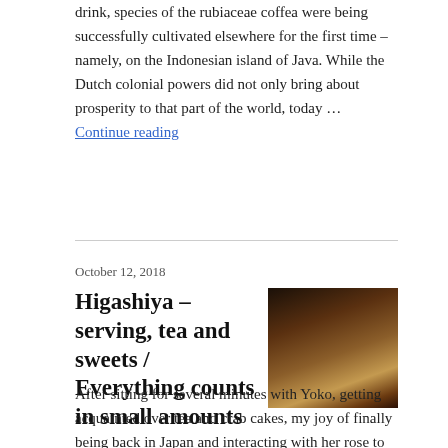drink, species of the rubiaceae coffea were being successfully cultivated elsewhere for the first time – namely, on the Indonesian island of Java. While the Dutch colonial powers did not only bring about prosperity to that part of the world, today … Continue reading
October 12, 2018
Higashiya – serving, tea and sweets / Everything counts in small amounts
[Figure (photo): Photo of Japanese sweets/cakes on a wooden board, taken from above in dim lighting]
After sitting for several minutes with Yoko, getting acquainted over tea and crab cakes, my joy of finally being back in Japan and interacting with her rose to my upper body, resulting in me expressing how much I wish to learn Japanese. I am guessing that based on her culture and the fact that … Continue reading